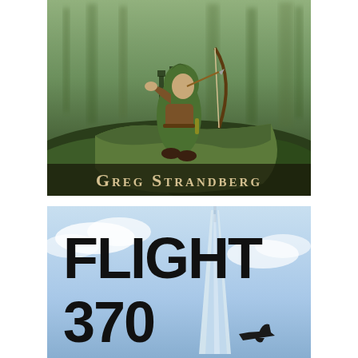[Figure (illustration): Book cover illustration: A fantasy archer in green hood and brown leather armor drawing a longbow in a misty forest. Dark trees in background. Text 'GREG STRANDBERG' in gold/cream serif font at the bottom of the cover.]
[Figure (illustration): Book cover showing large bold black text 'FLIGHT 370' with a tall skyscraper (resembling One World Trade Center) and a dark aircraft silhouette against a blue sky with clouds.]